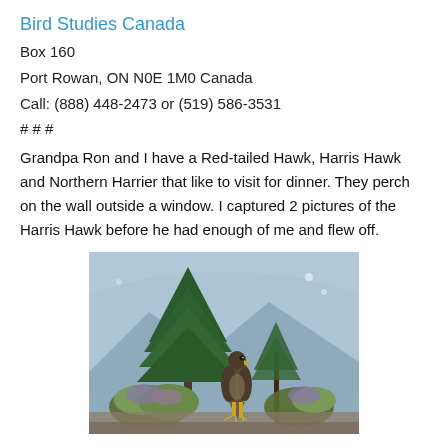Bird Studies Canada
Box 160
Port Rowan, ON N0E 1M0 Canada
Call: (888) 448-2473 or (519) 586-3531
# # #
Grandpa Ron and I have a Red-tailed Hawk, Harris Hawk and Northern Harrier that like to visit for dinner. They perch on the wall outside a window. I captured 2 pictures of the Harris Hawk before he had enough of me and flew off.
[Figure (photo): A Harris Hawk perched on a wall outdoors, with an evergreen tree in the background and flowering shrubs, mountain scenery visible behind.]